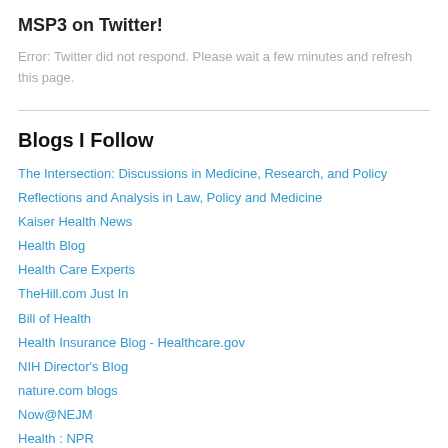MSP3 on Twitter!
Error: Twitter did not respond. Please wait a few minutes and refresh this page.
Blogs I Follow
The Intersection: Discussions in Medicine, Research, and Policy
Reflections and Analysis in Law, Policy and Medicine
Kaiser Health News
Health Blog
Health Care Experts
TheHill.com Just In
Bill of Health
Health Insurance Blog - Healthcare.gov
NIH Director's Blog
nature.com blogs
Now@NEJM
Health : NPR